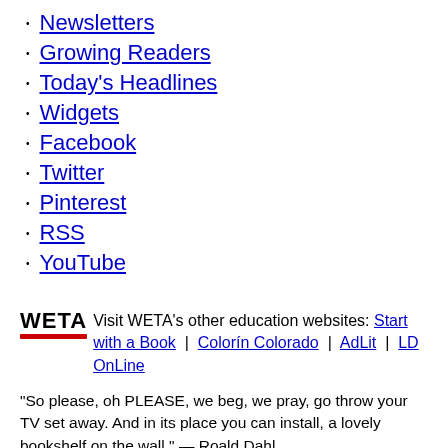Newsletters
Growing Readers
Today's Headlines
Widgets
Facebook
Twitter
Pinterest
RSS
YouTube
Visit WETA's other education websites: Start with a Book | Colorín Colorado | AdLit | LD OnLine
"So please, oh PLEASE, we beg, we pray, go throw your TV set away. And in its place you can install, a lovely bookshelf on the wall." — Roald Dahl